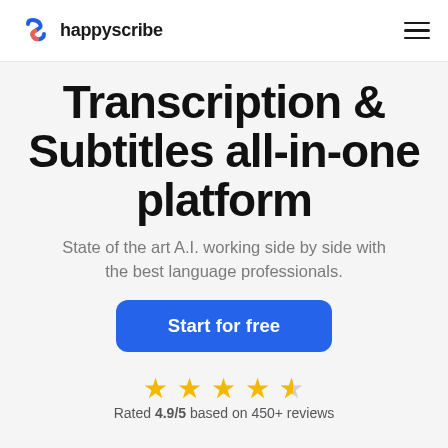happyscribe
Transcription & Subtitles all-in-one platform
State of the art A.I. working side by side with the best language professionals.
Start for free
[Figure (other): Five-star rating display: four full gold stars and one half gold star]
Rated 4.9/5 based on 450+ reviews